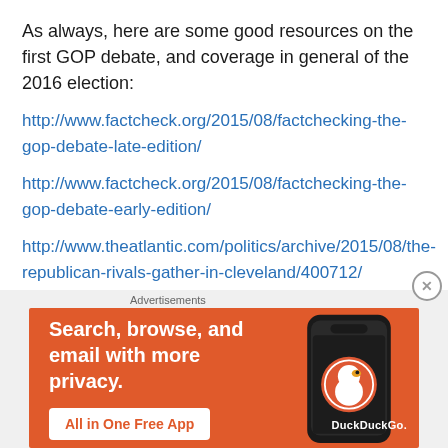As always, here are some good resources on the first GOP debate, and coverage in general of the 2016 election:
http://www.factcheck.org/2015/08/factchecking-the-gop-debate-late-edition/
http://www.factcheck.org/2015/08/factchecking-the-gop-debate-early-edition/
http://www.theatlantic.com/politics/archive/2015/08/the-republican-rivals-gather-in-cleveland/400712/
[Figure (screenshot): DuckDuckGo advertisement banner: orange background with text 'Search, browse, and email with more privacy. All in One Free App' and a smartphone image with DuckDuckGo logo]